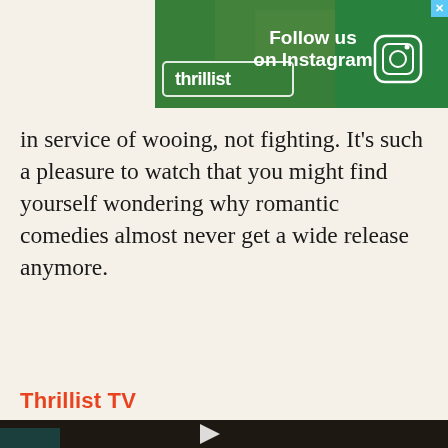[Figure (other): Thrillist advertisement banner with food image background and 'Follow us on Instagram' text with Instagram icon]
in service of wooing, not fighting. It's such a pleasure to watch that you might find yourself wondering why romantic comedies almost never get a wide release anymore.
Thrillist TV
[Figure (photo): Video thumbnail showing a bearded man with long brown hair in a restaurant setting, with a play button overlay]